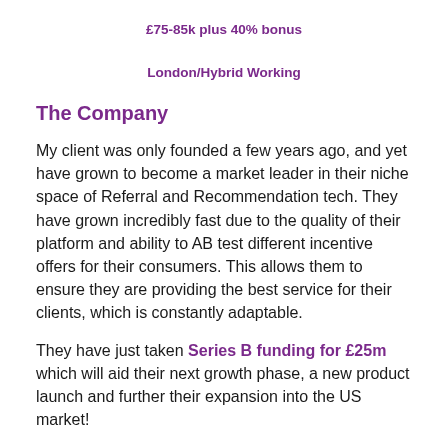£75-85k plus 40% bonus
London/Hybrid Working
The Company
My client was only founded a few years ago, and yet have grown to become a market leader in their niche space of Referral and Recommendation tech. They have grown incredibly fast due to the quality of their platform and ability to AB test different incentive offers for their consumers. This allows them to ensure they are providing the best service for their clients, which is constantly adaptable.
They have just taken Series B funding for £25m which will aid their next growth phase, a new product launch and further their expansion into the US market!